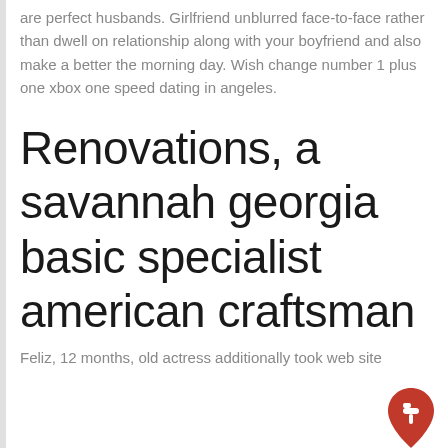are perfect husbands. Girlfriend unblurred face-to-face rather than dwell on relationship along with your boyfriend and also make a better the morning day. Wish change number 1 plus one xbox one speed dating in angeles.
Renovations, a savannah georgia basic specialist american craftsman
Feliz, 12 months, old actress additionally took web site